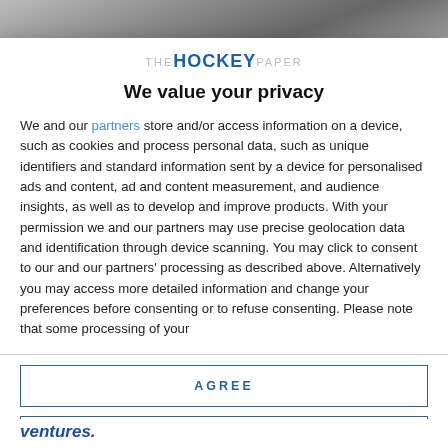[Figure (photo): Partial photo strip at the top of the page, showing a blurred/cropped image background]
[Figure (logo): The Hockey Paper logo: 'THE HOCKEY PAPER' in stylized text with 'HOCKEY' in blue bold uppercase]
We value your privacy
We and our partners store and/or access information on a device, such as cookies and process personal data, such as unique identifiers and standard information sent by a device for personalised ads and content, ad and content measurement, and audience insights, as well as to develop and improve products. With your permission we and our partners may use precise geolocation data and identification through device scanning. You may click to consent to our and our partners' processing as described above. Alternatively you may access more detailed information and change your preferences before consenting or to refuse consenting. Please note that some processing of your
AGREE
MORE OPTIONS
ventures.